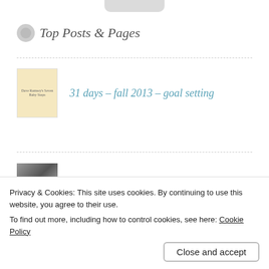Top Posts & Pages
31 days – fall 2013 – goal setting
january 2015 goals
Advertisements
[Figure (logo): AUTOMATTIC logo with stylized ring/circle replacing the letter O]
Privacy & Cookies: This site uses cookies. By continuing to use this website, you agree to their use.
To find out more, including how to control cookies, see here: Cookie Policy
Close and accept